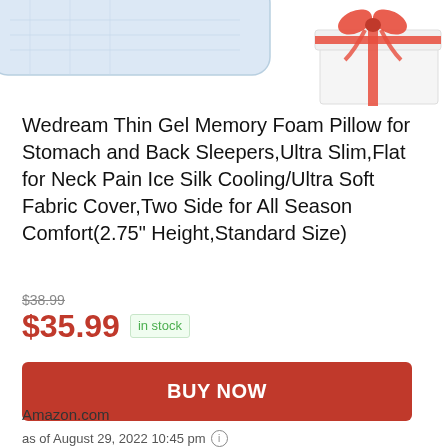[Figure (photo): Partial view of a pillow product and a gift-wrapped white box with red ribbon bow on white background]
Wedream Thin Gel Memory Foam Pillow for Stomach and Back Sleepers,Ultra Slim,Flat for Neck Pain Ice Silk Cooling/Ultra Soft Fabric Cover,Two Side for All Season Comfort(2.75" Height,Standard Size)
$38.99 (strikethrough original price)
$35.99 in stock
BUY NOW
Amazon.com
as of August 29, 2022 10:45 pm (i)